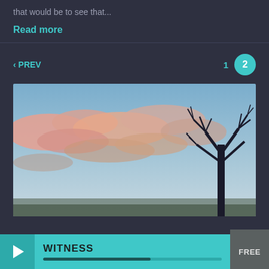that would be to see that...
Read more
‹ PREV    1    2
[Figure (photo): Sunset sky with pink and orange clouds and a bare tree silhouette on the right side]
WITNESS
FREE